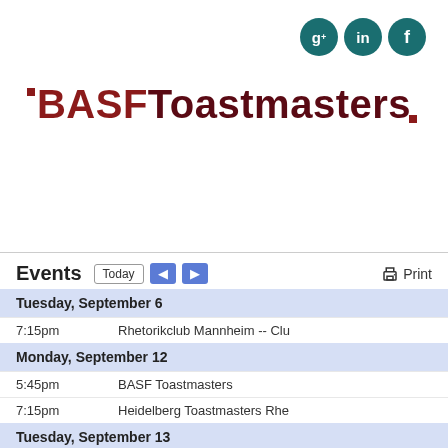[Figure (logo): Social media icons: Google+, LinkedIn, Facebook as teal circles]
BASF Toastmasters
Navigate to...
Events
| Date | Time | Event |
| --- | --- | --- |
| Tuesday, September 6 |  |  |
|  | 7:15pm | Rhetorikclub Mannheim -- Clu |
| Monday, September 12 |  |  |
|  | 5:45pm | BASF Toastmasters |
|  | 7:15pm | Heidelberg Toastmasters Rhe |
| Tuesday, September 13 |  |  |
|  | 7:15pm | Mannheim Int. Toastmasters |